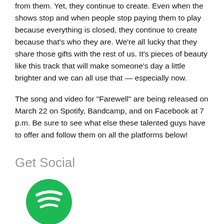from them. Yet, they continue to create. Even when the shows stop and when people stop paying them to play because everything is closed, they continue to create because that's who they are. We're all lucky that they share those gifts with the rest of us. It's pieces of beauty like this track that will make someone's day a little brighter and we can all use that — especially now.

The song and video for "Farewell" are being released on March 22 on Spotify, Bandcamp, and on Facebook at 7 p.m. Be sure to see what else these talented guys have to offer and follow them on all the platforms below!
Get Social
[Figure (logo): Spotify green logo — circular green background with three white curved sound-wave lines]